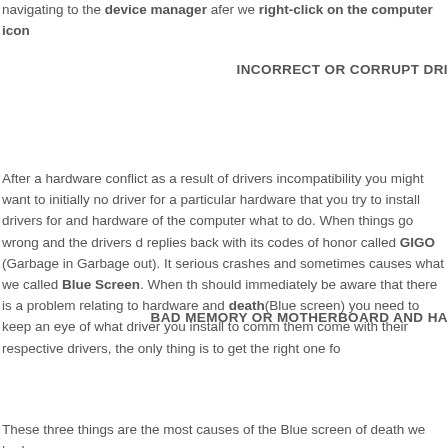navigating to the device manager afer we right-click on the computer icon
INCORRECT OR CORRUPT DRI
After a hardware conflict as a result of drivers incompatibility you might want to... initially no driver for a particular hardware that you try to install drivers for and hardware of the computer what to do. When things go wrong and the drivers d... replies back with its codes of honor called GIGO (Garbage in Garbage out). It serious crashes and sometimes causes what we called Blue Screen. When th... should immediately be aware that there is a problem relating to hardware and death(Blue screen) you need to keep an eye of what driver you install to comm... them come with their respective drivers, the only thing is to get the right one fo...
BAD MEMORY OR MOTHERBOARD AND HA
These three things are the most causes of the Blue screen of death we had a...